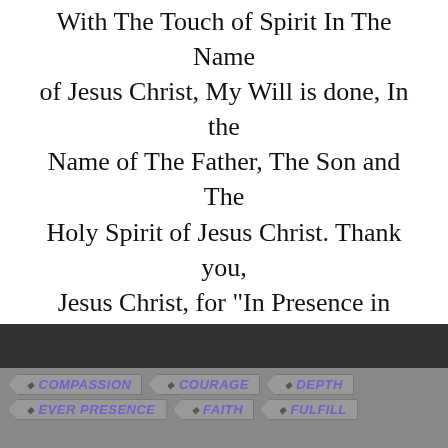With The Touch of Spirit In The Name of Jesus Christ, My Will is done, In the Name of The Father, The Son and The Holy Spirit of Jesus Christ. Thank you, Jesus Christ, for "In Presence in Spirit" February 25, 2011, Wendy Yvette Greenwell
© 2011–2022 inpresenceofspirit.com by Wendy Yvette Greenwell
COMPASSION   COURAGE   DEPTH   EVER PRESENCE   FAITH   FULFILL